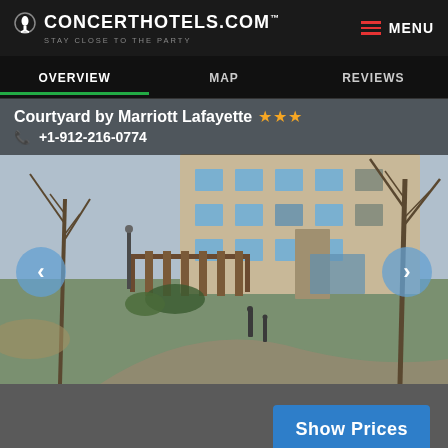CONCERTHOTELS.COM™ STAY CLOSE TO THE PARTY
OVERVIEW | MAP | REVIEWS
Courtyard by Marriott Lafayette ★★★
+1-912-216-0774
[Figure (photo): Exterior photo of Courtyard by Marriott Lafayette hotel showing the building facade, landscaping with a curved walkway, green lawn, pergola structure, and bare winter trees. Blue navigation arrows on left and right for image carousel.]
Show Prices